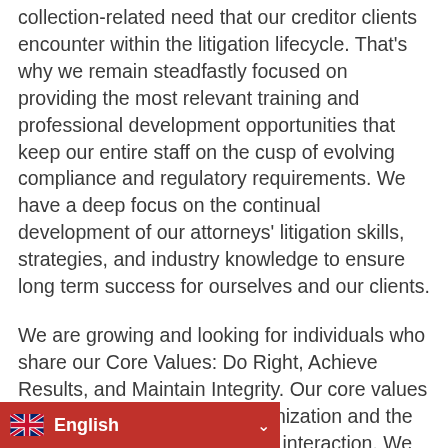collection-related need that our creditor clients encounter within the litigation lifecycle. That's why we remain steadfastly focused on providing the most relevant training and professional development opportunities that keep our entire staff on the cusp of evolving compliance and regulatory requirements. We have a deep focus on the continual development of our attorneys' litigation skills, strategies, and industry knowledge to ensure long term success for ourselves and our clients.
We are growing and looking for individuals who share our Core Values: Do Right, Achieve Results, and Maintain Integrity. Our core values are the foundation of our organization and the guiding principles of our every interaction. We are seeking mutually committed professionals who embody a growth mindset and are in our fast-paced, team